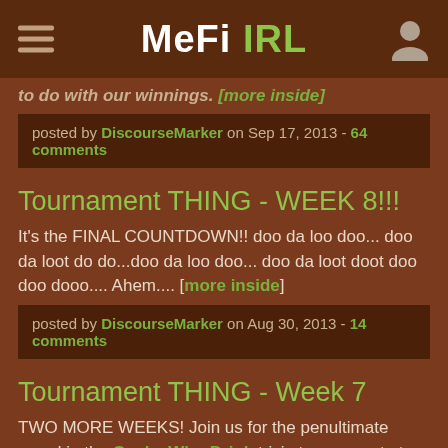MeFi IRL
to do with our winnings. [more inside]
posted by DiscourseMarker on Sep 17, 2013 - 64 comments
Tournament THING - WEEK 8!!!
It's the FINAL COUNTDOWN!! doo da loo doo... doo da loot do do...doo da loo doo... doo da loot doot doo doo dooo.... Ahem.... [more inside]
posted by DiscourseMarker on Aug 30, 2013 - 14 comments
Tournament THING - Week 7
TWO MORE WEEKS! Join us for the penultimate round in the Geeks Who Drink trivia tournament at Tommy Doyle's, Monday at 7:30. Or however early we need to get there in order to keep people from STEALING OUR TABLE!!!